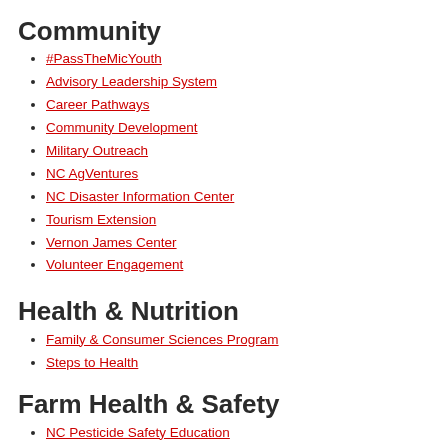Community
#PassTheMicYouth
Advisory Leadership System
Career Pathways
Community Development
Military Outreach
NC AgVentures
NC Disaster Information Center
Tourism Extension
Vernon James Center
Volunteer Engagement
Health & Nutrition
Family & Consumer Sciences Program
Steps to Health
Farm Health & Safety
NC Pesticide Safety Education